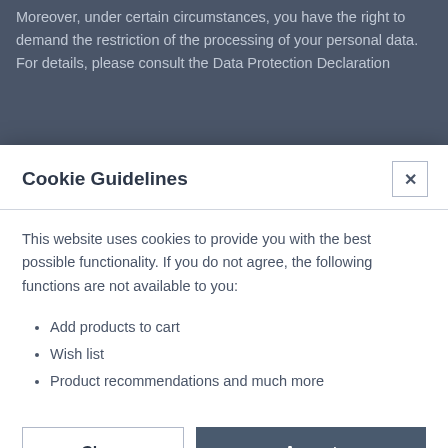Moreover, under certain circumstances, you have the right to demand the restriction of the processing of your personal data. For details, please consult the Data Protection Declaration
Cookie Guidelines
This website uses cookies to provide you with the best possible functionality. If you do not agree, the following functions are not available to you:
Add products to cart
Wish list
Product recommendations and much more
You have the option to object to such analyses or you can prevent their performance by not using certain tools. For detailed information about the tools and about your options to